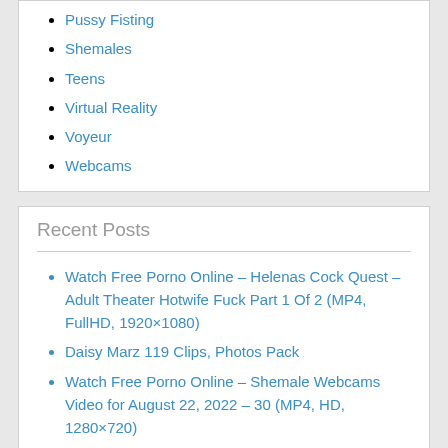Pussy Fisting
Shemales
Teens
Virtual Reality
Voyeur
Webcams
Recent Posts
Watch Free Porno Online – Helenas Cock Quest – Adult Theater Hotwife Fuck Part 1 Of 2 (MP4, FullHD, 1920×1080)
Daisy Marz 119 Clips, Photos Pack
Watch Free Porno Online – Shemale Webcams Video for August 22, 2022 – 30 (MP4, HD, 1280×720)
Watch Free Porno Online – Helenas Cock Quest